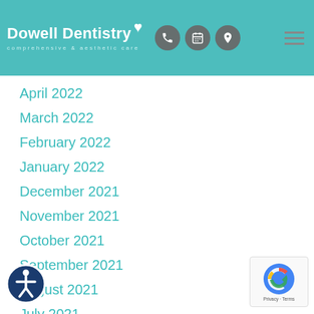Dowell Dentistry — comprehensive & aesthetic care
April 2022
March 2022
February 2022
January 2022
December 2021
November 2021
October 2021
September 2021
August 2021
July 2021